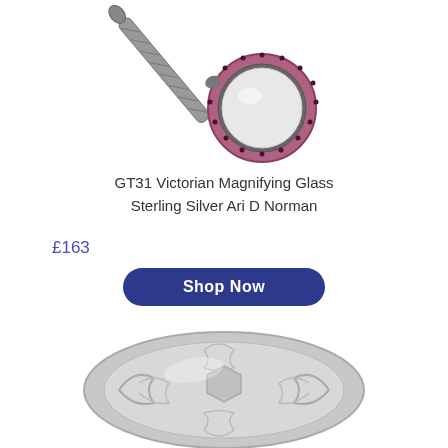[Figure (photo): Victorian magnifying glass with twisted sterling silver handle and circular lens with decorative dark gem-set border, photographed on white background, cropped showing lower portion.]
GT31 Victorian Magnifying Glass Sterling Silver Ari D Norman
£163
Shop Now
[Figure (photo): Oval sterling silver decorative compact or pill box with intricate embossed floral and scrollwork design, photographed on white background from above.]